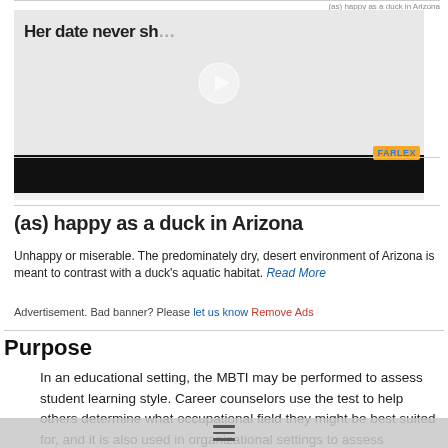[Figure (screenshot): Thumbnail of a video showing a hand writing, with text 'Her date never sh...' and a play button overlay. Black bar at bottom. Farlex logo visible.]
(as) happy as a duck in Arizona
(as) happy as a duck in Arizona
Unhappy or miserable. The predominately dry, desert environment of Arizona is meant to contrast with a duck's aquatic habitat. Read More
Advertisement. Bad banner? Please let us know Remove Ads
Purpose
In an educational setting, the MBTI may be performed to assess student learning style. Career counselors use the test to help others determine what occupational field they might be best suited for, and it is also used in organizational settings to assess management skills and facilitate teamwork and problem-solving, including communication difficulties. Because the MBTI is also a tool for self-discovery, mental health